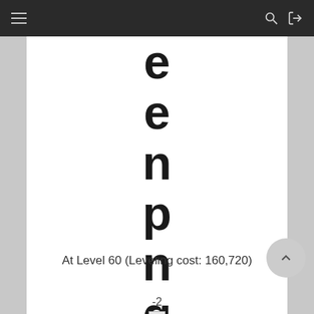Navigation bar with menu, search, and exit icons
e
e
n
p
n
g
At Level 60 (Leveling cost: 160,720)
-2
[Figure (illustration): Small broken image placeholder icon]
m
a